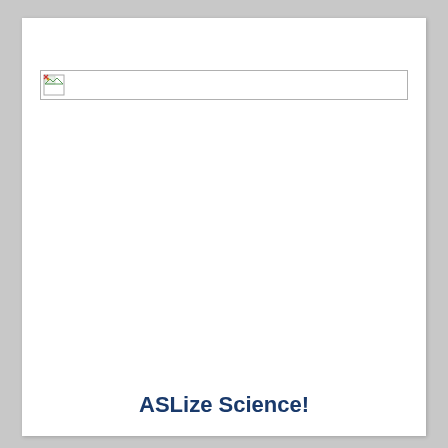[Figure (other): Broken/missing image placeholder with small icon, shown as a bordered rectangle with a broken image icon in the top-left corner]
ASLize Science!